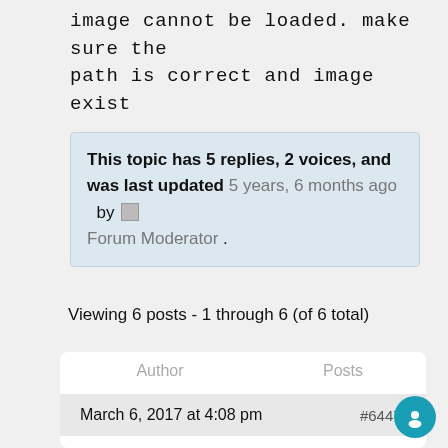image cannot be loaded. make sure the path is correct and image exist
This topic has 5 replies, 2 voices, and was last updated 5 years, 6 months ago by [icon] Forum Moderator .
Viewing 6 posts - 1 through 6 (of 6 total)
| Author | Posts |
| --- | --- |
| March 6, 2017 at 4:08 pm | #64472 |
Cody
Member
Topics: 2
Replies: 3